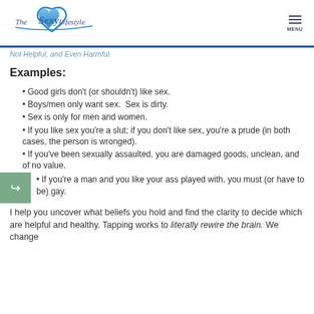[Figure (logo): The Sexy Lifestyle logo with blue heart and stylized text]
Not Helpful, and Even Harmful.
Examples:
Good girls don't (or shouldn't) like sex.
Boys/men only want sex.  Sex is dirty.
Sex is only for men and women.
If you like sex you're a slut; if you don't like sex, you're a prude (in both cases, the person is wronged).
If you've been sexually assaulted, you are damaged goods, unclean, and of no value.
If you're a man and you like your ass played with, you must (or have to be) gay.
I help you uncover what beliefs you hold and find the clarity to decide which are helpful and healthy. Tapping works to literally rewire the brain. We change